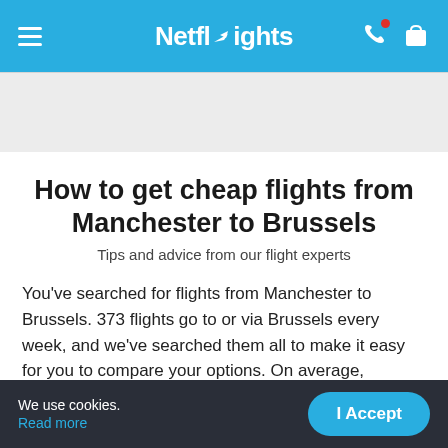Netflights
How to get cheap flights from Manchester to Brussels
Tips and advice from our flight experts
You've searched for flights from Manchester to Brussels. 373 flights go to or via Brussels every week, and we've searched them all to make it easy for you to compare your options. On average, Brussels Airlines has the cheapest flights, so look out for them in your search results.
We use cookies. Read more  I Accept